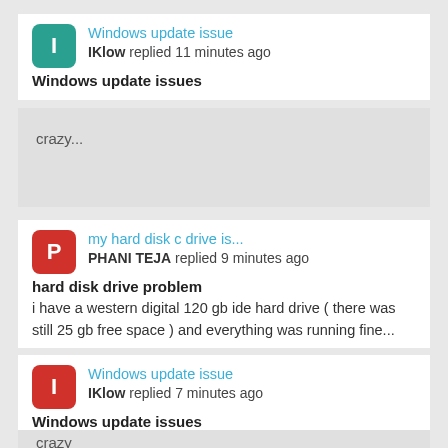Windows update issue — IKlow replied 11 minutes ago
Windows update issues
crazy...
my hard disk c drive is... — PHANI TEJA replied 9 minutes ago
hard disk drive problem
i have a western digital 120 gb ide hard drive ( there was still 25 gb free space ) and everything was running fine...
Windows update issue — IKlow replied 7 minutes ago
Windows update issues
crazy...